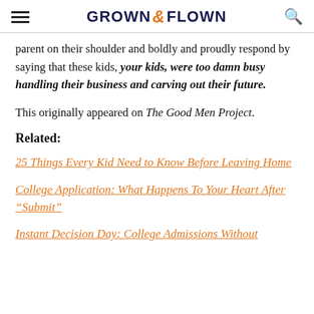GROWN & FLOWN
parent on their shoulder and boldly and proudly respond by saying that these kids, your kids, were too damn busy handling their business and carving out their future.
This originally appeared on The Good Men Project.
Related:
25 Things Every Kid Need to Know Before Leaving Home
College Application: What Happens To Your Heart After “Submit”
Instant Decision Day: College Admissions Without